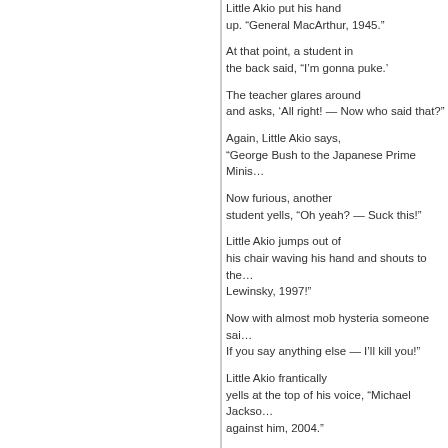Little Akio put his hand up. “General MacArthur, 1945.”
At that point, a student in the back said, “I’m gonna puke.’
The teacher glares around and asks, ‘All right! — Now who said that?”
Again, Little Akio says, “George Bush to the Japanese Prime Minis…
Now furious, another student yells, “Oh yeah? — Suck this!”
Little Akio jumps out of his chair waving his hand and shouts to the… Lewinsky, 1997!”
Now with almost mob hysteria someone sai… If you say anything else — I’ll kill you!”
Little Akio frantically yells at the top of his voice, “Michael Jackso… against him, 2004.”
The teacher fainted. As the class gathered around the teacher on the floor, s… screwed!”